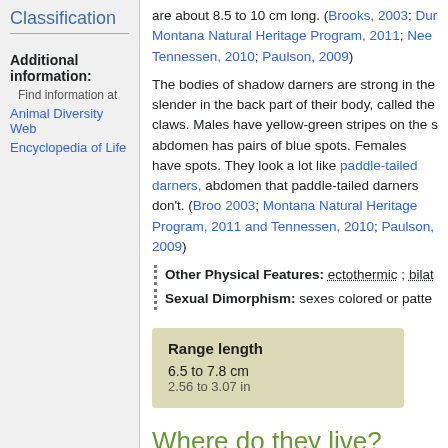Classification
Additional information:
Find information at
Animal Diversity Web
Encyclopedia of Life
are about 8.5 to 10 cm long. (Brooks, 2003; Dur Montana Natural Heritage Program, 2011; Nee Tennessen, 2010; Paulson, 2009)
The bodies of shadow darners are strong in the slender in the back part of their body, called the claws. Males have yellow-green stripes on the s abdomen has pairs of blue spots. Females have spots. They look a lot like paddle-tailed darners, abdomen that paddle-tailed darners don't. (Broo 2003; Montana Natural Heritage Program, 2011 and Tennessen, 2010; Paulson, 2009)
Other Physical Features: ectothermic ; bilat
Sexual Dimorphism: sexes colored or patte
| Range length |
| --- |
| 6.5 to 7.8 cm |
| 2.56 to 3.07 in |
Where do they live?
Shadow darners live in all provinces and territ